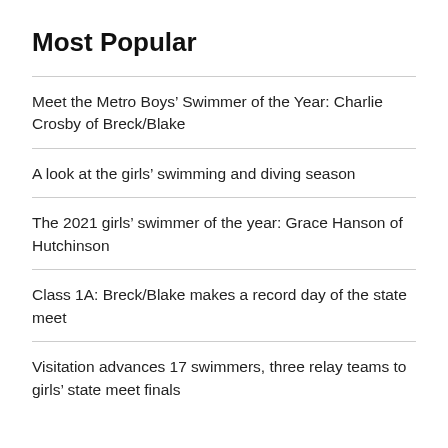Most Popular
Meet the Metro Boys’ Swimmer of the Year: Charlie Crosby of Breck/Blake
A look at the girls’ swimming and diving season
The 2021 girls’ swimmer of the year: Grace Hanson of Hutchinson
Class 1A: Breck/Blake makes a record day of the state meet
Visitation advances 17 swimmers, three relay teams to girls’ state meet finals